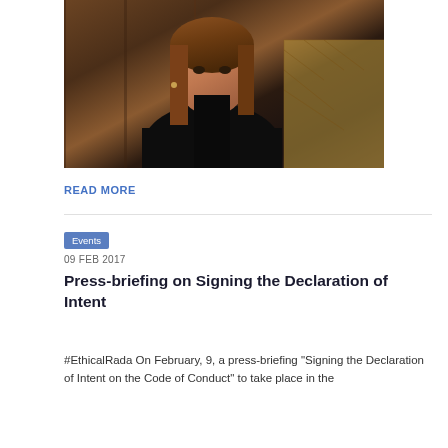[Figure (photo): A woman with long brown hair wearing a black outfit, seated in what appears to be a formal chamber or hall with wooden paneling and a patterned chair visible in the background.]
READ MORE
Events
09 FEB 2017
Press-briefing on Signing the Declaration of Intent
#EthicalRada On February, 9, a press-briefing "Signing the Declaration of Intent on the Code of Conduct" to take place in the